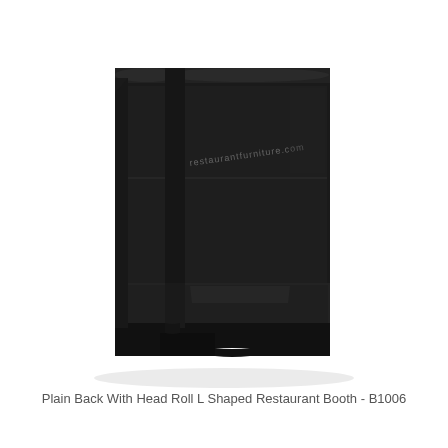[Figure (illustration): Black L-shaped restaurant booth with plain back and head roll, upholstered in black vinyl/leather, shown in perspective view. The booth forms an L-shape with two connected bench sections and high backs, resting on a dark plinth base. A watermark reading 'restaurantfurniture.com' or similar is faintly visible on the back.]
Plain Back With Head Roll L Shaped Restaurant Booth - B1006